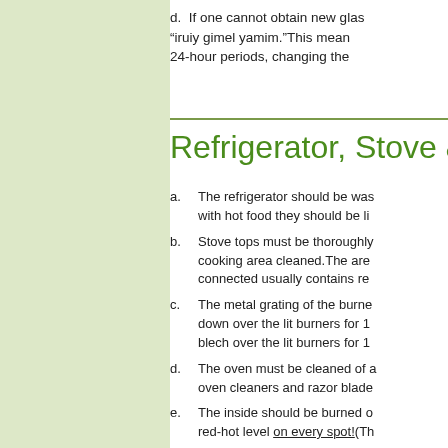d. If one cannot obtain new glass... "iruiy gimel yamim."This mean... 24-hour periods, changing the...
Refrigerator, Stove &
a. The refrigerator should be was... with hot food they should be li...
b. Stove tops must be thoroughly... cooking area cleaned. The area... connected usually contains re...
c. The metal grating of the burne... down over the lit burners for 1... blech over the lit burners for 1...
d. The oven must be cleaned of a... oven cleaners and razor blade...
e. The inside should be burned o... red-hot level on every spot!(Th...
f. Some authorities allow the ove...